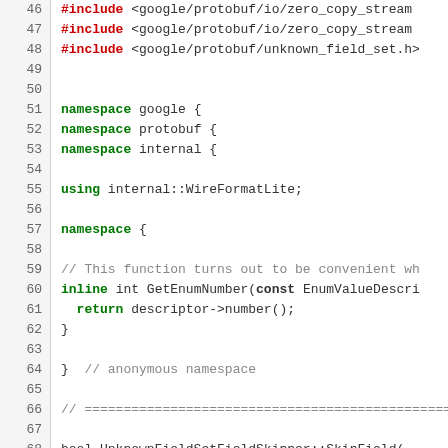[Figure (screenshot): Source code listing in C++ with syntax highlighting, showing lines 46-75. Keywords in red/green, comments in gray, plain identifiers in dark gray. Line numbers in left gutter.]